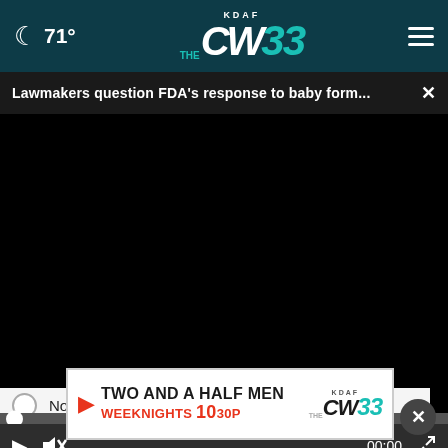🌙 71° — KDAF THE CW 33
Lawmakers question FDA's response to baby form... ×
[Figure (screenshot): Black video player area with progress bar at bottom, play button, mute button, timestamp 00:00, and fullscreen button]
No opinion / Other
[Figure (infographic): Ad banner: TWO AND A HALF MEN — WEEKNIGHTS 10 30P — KDAF CW 33 logo]
* By ...